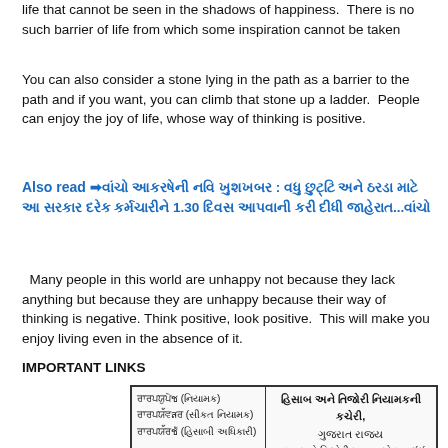life that cannot be seen in the shadows of happiness.  There is no such barrier of life from which some inspiration cannot be taken
You can also consider a stone lying in the path as a barrier to the path and if you want, you can climb that stone up a ladder.  People can enjoy the joy of life, whose way of thinking is positive.
Also read ➡ [Gujarati text link]
Many people in this world are unhappy not because they lack anything but because they are unhappy because their way of thinking is negative.  Think positive, look positive.  This will make you enjoy living even in the absence of it.
IMPORTANT LINKS
[Figure (other): Image of a document table with Gujarati text showing contact information: left column has phone numbers and designations, right column shows Hisab ane Tizori Niyamakni Kacheri, Gujarat Rajya]